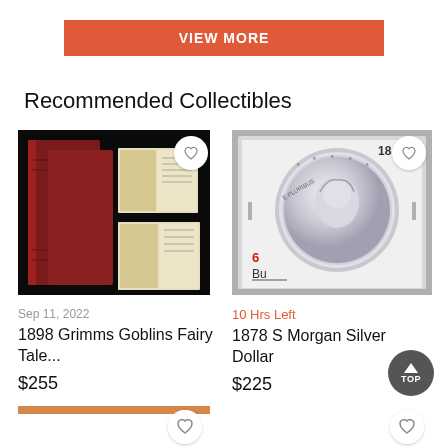VIEW MORE
Recommended Collectibles
[Figure (photo): Photo of antique red books with illustrated pages open]
Sep 11, 2022
1898 Grimms Goblins Fairy Tale...
$255
[Figure (photo): Photo of 1878 S Morgan Silver Dollar coin in holder labeled B4]
10 Hrs Left
1878 S Morgan Silver Dollar
$225